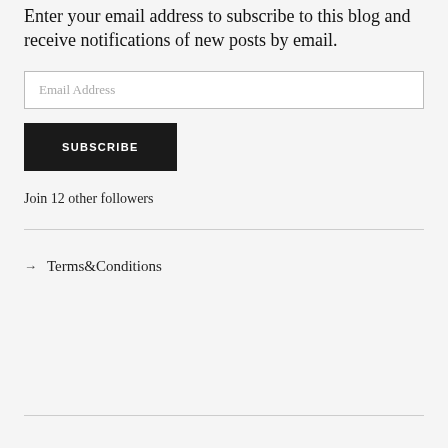Enter your email address to subscribe to this blog and receive notifications of new posts by email.
Email Address
SUBSCRIBE
Join 12 other followers
→ Terms&Conditions